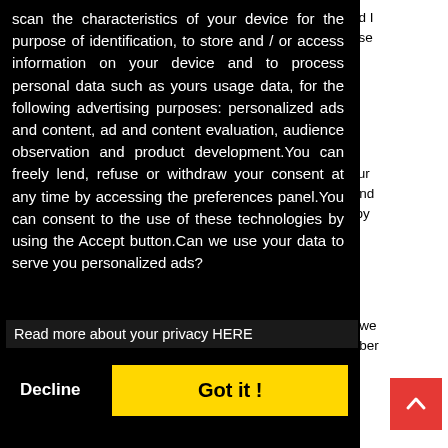scan the characteristics of your device for the purpose of identification, to store and / or access information on your device and to process personal data such as yours usage data, for the following advertising purposes: personalized ads and content, ad and content evaluation, audience observation and product development.You can freely lend, refuse or withdraw your consent at any time by accessing the preferences panel.You can consent to the use of these technologies by using the Accept button.Can we use your data to serve you personalized ads?
Read more about your privacy HERE
Decline
Got it !
s and I please
s your e I and happy
hen we hember